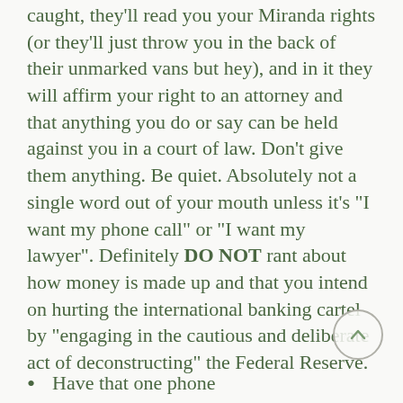caught, they'll read you your Miranda rights (or they'll just throw you in the back of their unmarked vans but hey), and in it they will affirm your right to an attorney and that anything you do or say can be held against you in a court of law. Don't give them anything. Be quiet. Absolutely not a single word out of your mouth unless it's "I want my phone call" or "I want my lawyer". Definitely DO NOT rant about how money is made up and that you intend on hurting the international banking cartel by "engaging in the cautious and deliberate act of deconstructing" the Federal Reserve.
Have that one phone